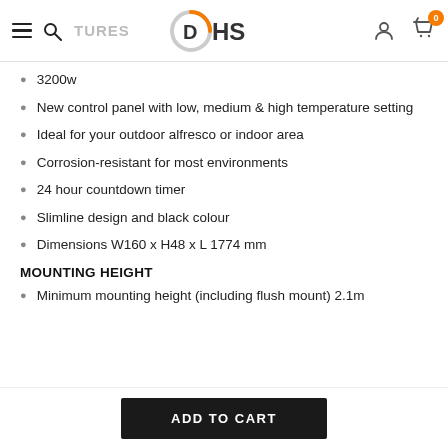FEATURES — DHS logo — user icon — cart (0)
3200w
New control panel with low, medium & high temperature setting
Ideal for your outdoor alfresco or indoor area
Corrosion-resistant for most environments
24 hour countdown timer
Slimline design and black colour
Dimensions W160 x H48 x L 1774 mm
MOUNTING HEIGHT
Minimum mounting height (including flush mount) 2.1m